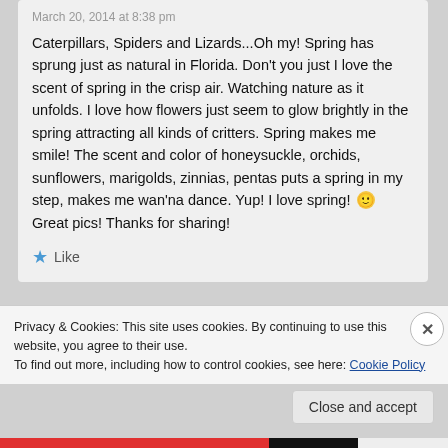March 20, 2014 at 8:38 pm
Caterpillars, Spiders and Lizards...Oh my! Spring has sprung just as natural in Florida. Don't you just I love the scent of spring in the crisp air. Watching nature as it unfolds. I love how flowers just seem to glow brightly in the spring attracting all kinds of critters. Spring makes me smile! The scent and color of honeysuckle, orchids, sunflowers, marigolds, zinnias, pentas puts a spring in my step, makes me wan'na dance. Yup! I love spring! 🙂 Great pics! Thanks for sharing!
★ Like
Privacy & Cookies: This site uses cookies. By continuing to use this website, you agree to their use.
To find out more, including how to control cookies, see here: Cookie Policy
Close and accept